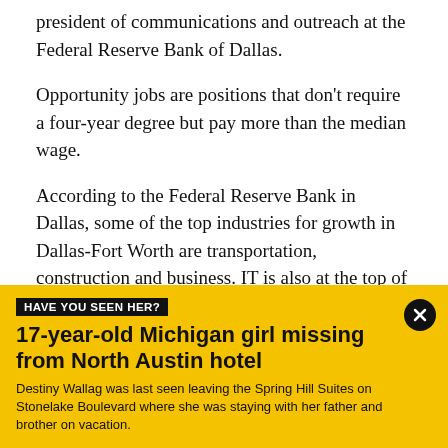president of communications and outreach at the Federal Reserve Bank of Dallas.
Opportunity jobs are positions that don't require a four-year degree but pay more than the median wage.
According to the Federal Reserve Bank in Dallas, some of the top industries for growth in Dallas-Fort Worth are transportation, construction and business. IT is also at the top of that list.
Jobs in those fields boast an average pay of more than
[Figure (infographic): Yellow banner advertisement with black tag reading 'HAVE YOU SEEN HER?', bold headline '17-year-old Michigan girl missing from North Austin hotel', and body text about Destiny Wallag. Close button (X) in top right.]